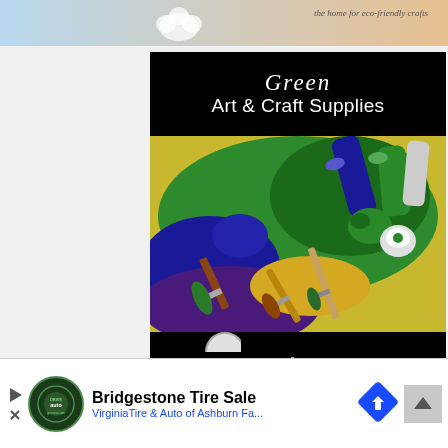[Figure (illustration): Top partial banner with eco-friendly crafts branding, light blue and peach gradient background with decorative cloud/flower shape and italic text 'the home for eco-friendly crafts']
[Figure (illustration): Book cover style image with black background showing 'Green' in script font and 'Art & Craft Supplies' in large white text, with a center photo of colorful paint tubes, paint smears (blue, green, yellow, purple), and two paintbrushes on a messy palette, and bottom text 'a helpful guide' in white script font]
[Figure (illustration): Partial bottom ad for Bridgestone Tire Sale by Virginia Tire & Auto of Ashburn Fa., with DriveAuto logo circle, blue navigation diamond icon, and scroll-to-top button]